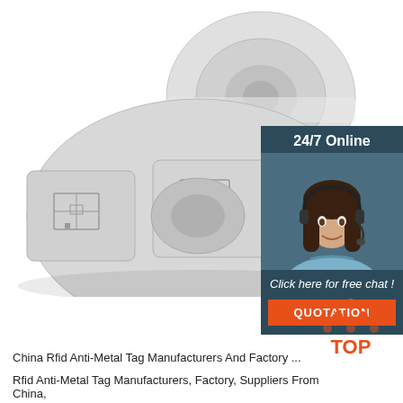[Figure (photo): Rolls of RFID anti-metal label tags on a white background, showing multiple square labels on the roll. A customer service chat widget is overlaid on the right side showing a woman with a headset, '24/7 Online' header, 'Click here for free chat!' text, and an orange 'QUOTATION' button.]
[Figure (logo): TOP logo with orange dot triangle above the word TOP in orange/red text]
China Rfid Anti-Metal Tag Manufacturers And Factory ...
Rfid Anti-Metal Tag Manufacturers, Factory, Suppliers From China,